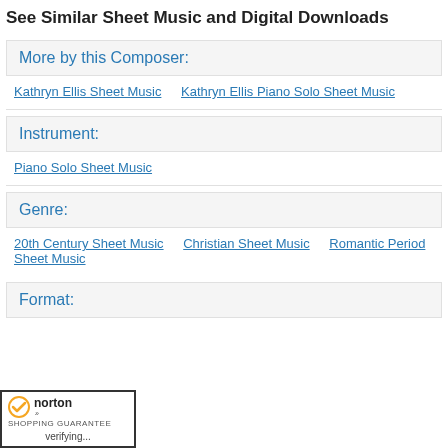See Similar Sheet Music and Digital Downloads
More by this Composer:
Kathryn Ellis Sheet Music
Kathryn Ellis Piano Solo Sheet Music
Instrument:
Piano Solo Sheet Music
Genre:
20th Century Sheet Music    Christian Sheet Music    Romantic Period Sheet Music
Format:
[Figure (logo): Norton Shopping Guarantee badge with checkmark and 'verifying...' text]